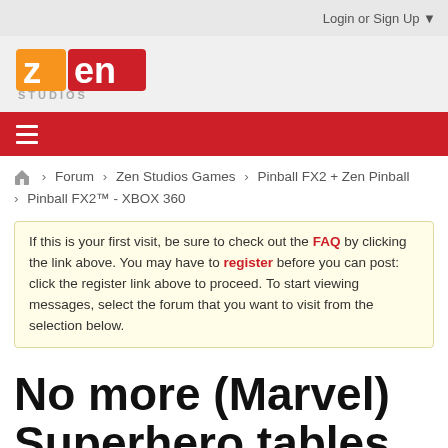Login or Sign Up ▼
[Figure (logo): Zen Studios logo with orange and red background and white text]
≡ (navigation menu)
Forum > Zen Studios Games > Pinball FX2 + Zen Pinball > Pinball FX2™ - XBOX 360
If this is your first visit, be sure to check out the FAQ by clicking the link above. You may have to register before you can post: click the register link above to proceed. To start viewing messages, select the forum that you want to visit from the selection below.
No more (Marvel) Superhero tables. Please.